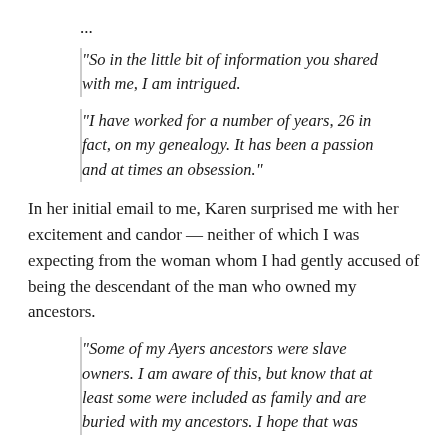...
"So in the little bit of information you shared with me, I am intrigued.
"I have worked for a number of years, 26 in fact, on my genealogy. It has been a passion and at times an obsession."
In her initial email to me, Karen surprised me with her excitement and candor — neither of which I was expecting from the woman whom I had gently accused of being the descendant of the man who owned my ancestors.
"Some of my Ayers ancestors were slave owners. I am aware of this, but know that at least some were included as family and are buried with my ancestors. I hope that was